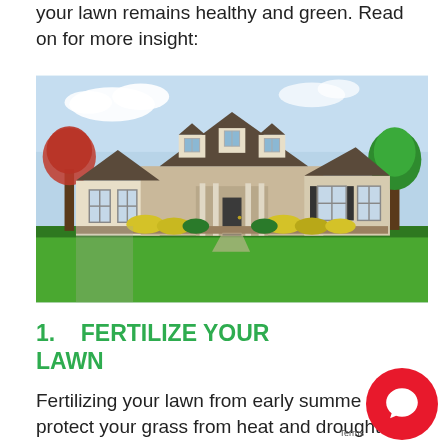your lawn remains healthy and green. Read on for more insight:
[Figure (photo): A large suburban house with stone facade, dark roof, multiple dormers, attached garage wing, trees on both sides, and a wide green lawn in the foreground.]
1.   FERTILIZE YOUR LAWN
Fertilizing your lawn from early summer protect your grass from heat and drought